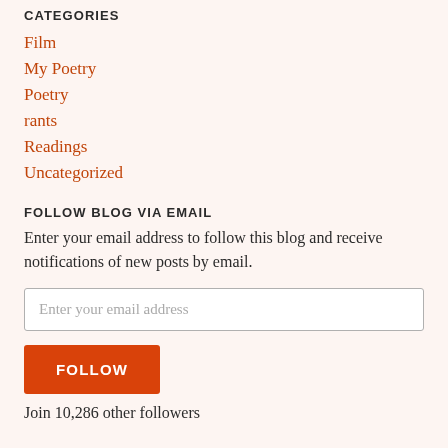CATEGORIES
Film
My Poetry
Poetry
rants
Readings
Uncategorized
FOLLOW BLOG VIA EMAIL
Enter your email address to follow this blog and receive notifications of new posts by email.
Enter your email address
FOLLOW
Join 10,286 other followers